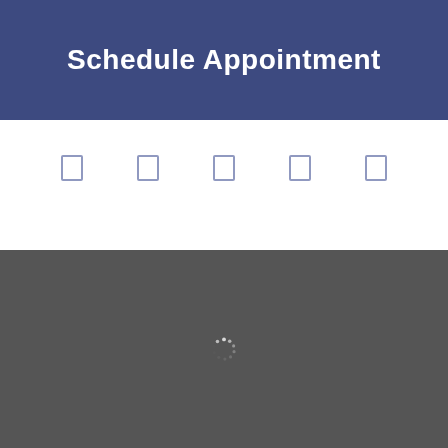Schedule Appointment
[Figure (screenshot): Navigation icon row with 5 small rectangular icons in muted blue/purple color on white background]
[Figure (screenshot): Dark grey loading overlay panel with a spinning loading indicator (dots in a circle) centered on the panel]